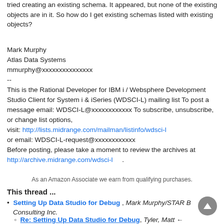tried creating an existing schema. It appeared, but none of the existing objects are in it. So how do I get existing schemas listed with existing objects?
Mark Murphy
Atlas Data Systems
mmurphy@xxxxxxxxxxxxxxx
--
This is the Rational Developer for IBM i / Websphere Development Studio Client for System i & iSeries (WDSCI-L) mailing list To post a message email: WDSCI-L@xxxxxxxxxxxx To subscribe, unsubscribe, or change list options,
visit: http://lists.midrange.com/mailman/listinfo/wdsci-l
or email: WDSCI-L-request@xxxxxxxxxxxx
Before posting, please take a moment to review the archives at http://archive.midrange.com/wdsci-l .
As an Amazon Associate we earn from qualifying purchases.
This thread ...
Setting Up Data Studio for Debug , Mark Murphy/STAR B Consulting Inc.
Re: Setting Up Data Studio for Debug, Tyler, Matt ←